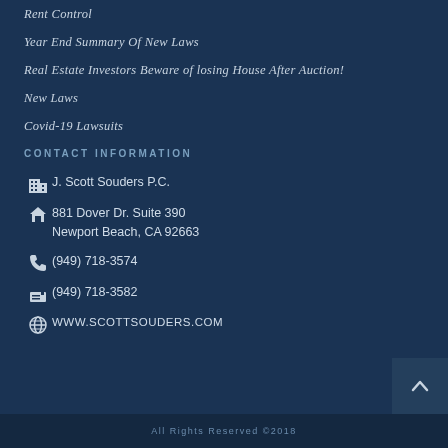Rent Control
Year End Summary Of New Laws
Real Estate Investors Beware of losing House After Auction!
New Laws
Covid-19 Lawsuits
CONTACT INFORMATION
J. Scott Souders P.C.
881 Dover Dr. Suite 390
Newport Beach, CA 92663
(949) 718-3574
(949) 718-3582
WWW.SCOTTSOUDERS.COM
All Rights Reserved ©2018